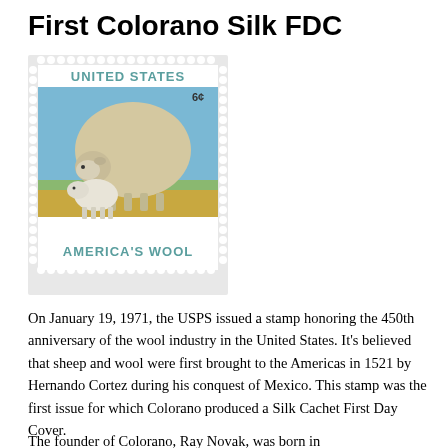First Colorano Silk FDC
[Figure (illustration): United States 6-cent postage stamp depicting a large sheep and a lamb in a pastoral landscape with fields. Text reads 'UNITED STATES' at top in teal, '6c' in upper right, and 'AMERICA'S WOOL' at bottom in teal bold lettering. Stamp has perforated edges on a light gray background.]
On January 19, 1971, the USPS issued a stamp honoring the 450th anniversary of the wool industry in the United States. It's believed that sheep and wool were first brought to the Americas in 1521 by Hernando Cortez during his conquest of Mexico. This stamp was the first issue for which Colorano produced a Silk Cachet First Day Cover.
The founder of Colorano, Ray Novak, was born in